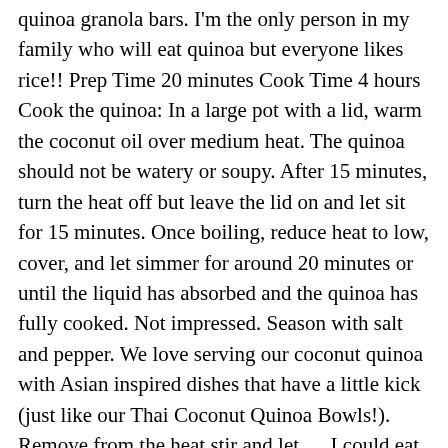quinoa granola bars. I'm the only person in my family who will eat quinoa but everyone likes rice!! Prep Time 20 minutes Cook Time 4 hours Cook the quinoa: In a large pot with a lid, warm the coconut oil over medium heat. The quinoa should not be watery or soupy. After 15 minutes, turn the heat off but leave the lid on and let sit for 15 minutes. Once boiling, reduce heat to low, cover, and let simmer for around 20 minutes or until the liquid has absorbed and the quinoa has fully cooked. Not impressed. Season with salt and pepper. We love serving our coconut quinoa with Asian inspired dishes that have a little kick (just like our Thai Coconut Quinoa Bowls!). Remove from the heat stir and let … I could eat it alone maybe with some of my newly created pomegranate molasses. I Don't like printing an ADD With This Recipe, Can't Wait to try the Coconut quinoa. We love coconut rice and thought a healthier spin could be coconut quinoa. We love making big batches of quinoa on the stovetop to use in buddha bowls and other meal prep recipes. favorite meals to serve